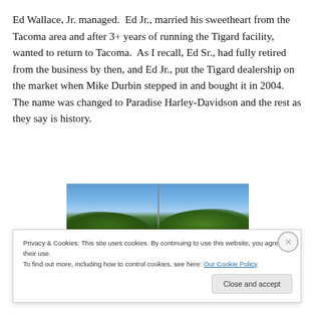Ed Wallace, Jr. managed.  Ed Jr., married his sweetheart from the Tacoma area and after 3+ years of running the Tigard facility, wanted to return to Tacoma.  As I recall, Ed Sr., had fully retired from the business by then, and Ed Jr., put the Tigard dealership on the market when Mike Durbin stepped in and bought it in 2004.  The name was changed to Paradise Harley-Davidson and the rest as they say is history.
[Figure (photo): Outdoor photo showing blue sky, trees, and a tall pole or sign structure]
Privacy & Cookies: This site uses cookies. By continuing to use this website, you agree to their use.
To find out more, including how to control cookies, see here: Our Cookie Policy